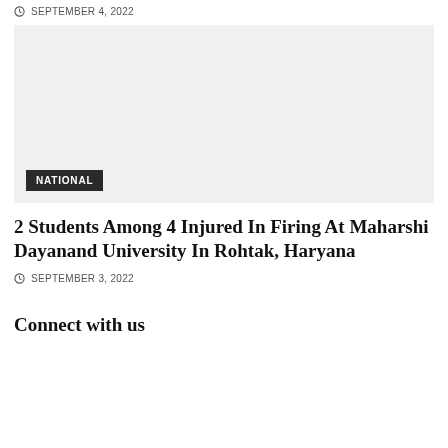SEPTEMBER 4, 2022
[Figure (photo): Gray placeholder image with NATIONAL badge overlay]
2 Students Among 4 Injured In Firing At Maharshi Dayanand University In Rohtak, Haryana
SEPTEMBER 3, 2022
Connect with us